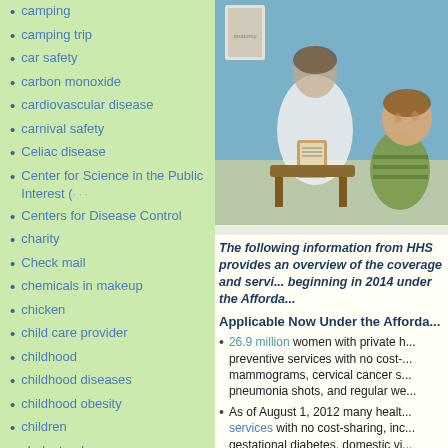camping
camping trip
car safety
carbon monoxide
cardiovascular disease
carnival safety
Celiac disease
Center for Science in the Public Interest (
Centers for Disease Control
charity
Check mail
chemicals in makeup
chicken
child care provider
childhood
childhood diseases
childhood obesity
children
cholesterol
chores
Christmas
Christmas trees
classic children's books
Clean room
[Figure (photo): Doctor or healthcare provider sitting with a young child in a medical office setting]
The following information from HHS provides an overview of the coverage and services beginning in 2014 under the Afforda...
Applicable Now Under the Afforda...
26.9 million women with private health insurance gained access to preventive services with no cost-sharing, including mammograms, cervical cancer screenings, pneumonia shots, and regular we...
As of August 1, 2012 many health plans must cover women's preventive services with no cost-sharing, including screenings for gestational diabetes, domestic vi... supplies and contraceptive servic...